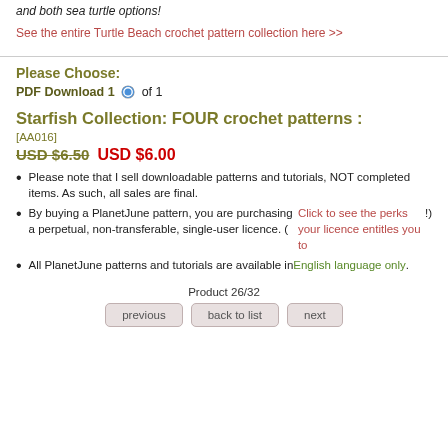and both sea turtle options!
See the entire Turtle Beach crochet pattern collection here >>
Please Choose:
PDF Download 1  of 1
Starfish Collection: FOUR crochet patterns :
[AA016]
USD $6.50  USD $6.00
Please note that I sell downloadable patterns and tutorials, NOT completed items. As such, all sales are final.
By buying a PlanetJune pattern, you are purchasing a perpetual, non-transferable, single-user licence. (Click to see the perks your licence entitles you to!)
All PlanetJune patterns and tutorials are available in English language only.
Product 26/32
previous  back to list  next